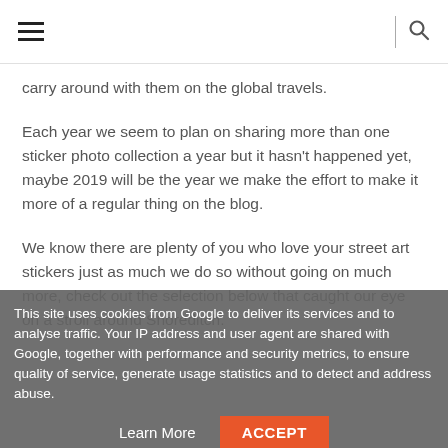[hamburger menu] | [search icon]
carry around with them on the global travels.
Each year we seem to plan on sharing more than one sticker photo collection a year but it hasn't happened yet, maybe 2019 will be the year we make the effort to make it more of a regular thing on the blog.
We know there are plenty of you who love your street art stickers just as much we do so without going on much more, check out the selection below that caught our eye on a stroll around Shoreditch.
This site uses cookies from Google to deliver its services and to analyse traffic. Your IP address and user agent are shared with Google, together with performance and security metrics, to ensure quality of service, generate usage statistics and to detect and address abuse.
Learn More  ACCEPT